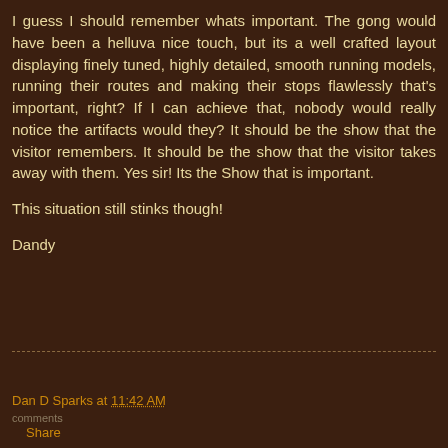I guess I should remember whats important. The gong would have been a helluva nice touch, but its a well crafted layout displaying finely tuned, highly detailed, smooth running models, running their routes and making their stops flawlessly that's important, right? If I can achieve that, nobody would really notice the artifacts would they? It should be the show that the visitor remembers. It should be the show that the visitor takes away with them. Yes sir! Its the Show that is important.
This situation still stinks though!
Dandy
Dan D Sparks at 11:42 AM
Share